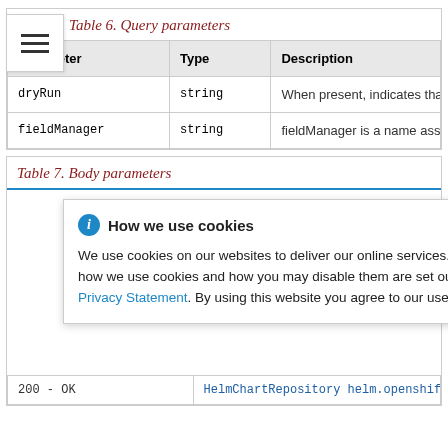Table 6. Query parameters
| Parameter | Type | Description |
| --- | --- | --- |
| dryRun | string | When present, indicates that modifica |
| fieldManager | string | fieldManager is a name associated wit |
Table 7. Body parameters
How we use cookies
We use cookies on our websites to deliver our online services. Details about how we use cookies and how you may disable them are set out in our Privacy Statement. By using this website you agree to our use of cookies.
| 200 - OK | HelmChartRepository helm.openshift.io/v1bet |